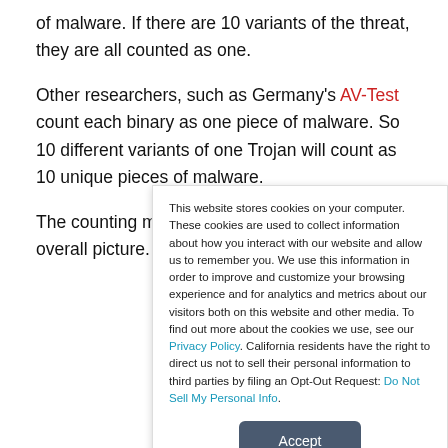of malware. If there are 10 variants of the threat, they are all counted as one.
Other researchers, such as Germany's AV-Test count each binary as one piece of malware. So 10 different variants of one Trojan will count as 10 unique pieces of malware.
The counting method is a minor detail in the overall picture.
This website stores cookies on your computer. These cookies are used to collect information about how you interact with our website and allow us to remember you. We use this information in order to improve and customize your browsing experience and for analytics and metrics about our visitors both on this website and other media. To find out more about the cookies we use, see our Privacy Policy. California residents have the right to direct us not to sell their personal information to third parties by filing an Opt-Out Request: Do Not Sell My Personal Info.
Accept